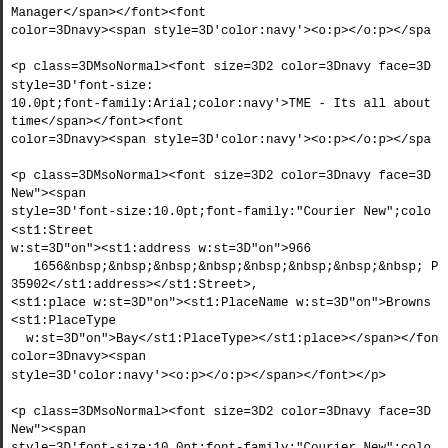Manager</span></font><font
color=3Dnavy><span style=3D'color:navy'><o:p></o:p></spa

<p class=3DMsoNormal><font size=3D2 color=3Dnavy face=3D
style=3D'font-size:
10.0pt;font-family:Arial;color:navy'>TME - Its all about
time</span></font><font
color=3Dnavy><span style=3D'color:navy'><o:p></o:p></spa

<p class=3DMsoNormal><font size=3D2 color=3Dnavy face=3D
New"><span
style=3D'font-size:10.0pt;font-family:"Courier New";colo
<st1:Street
w:st=3D"on"><st1:address w:st=3D"on">966
   1656&nbsp;&nbsp;&nbsp;&nbsp;&nbsp;&nbsp;&nbsp;&nbsp; P
35902</st1:address></st1:Street>,
<st1:place w:st=3D"on"><st1:PlaceName w:st=3D"on">Browns
<st1:PlaceType
  w:st=3D"on">Bay</st1:PlaceType></st1:place></span></fon
color=3Dnavy><span
style=3D'color:navy'><o:p></o:p></span></font></p>

<p class=3DMsoNormal><font size=3D2 color=3Dnavy face=3D
New"><span
style=3D'font-size:10.0pt;font-family:"Courier New";colo
1051&nbsp;&nbsp;&nbsp;&nbsp;&nbsp;&nbsp;&nbsp;&nbsp;&nbs
<st1:place
w:st=3D"on"><st1:City w:st=3D"on">Auckland</st1:City>, =
<st1:country-region w:st=3D"on">New
  Zealand</st1:country-region></st1:place></span></font>